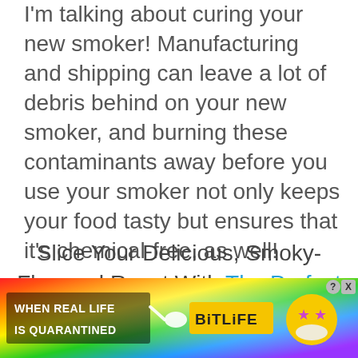No, I'm not talking about herbs and spices — I'm talking about curing your new smoker! Manufacturing and shipping can leave a lot of debris behind on your new smoker, and burning these contaminants away before you use your smoker not only keeps your food tasty but ensures that it's chemical-free, as well!
Slice Your Delicious, Smoky-Flavored Roast With The Perfect Slicing Knife Available!
[Figure (other): Advertisement banner for BitLife mobile game. Shows rainbow background with text 'WHEN REAL LIFE IS QUARANTINED', a sperm icon, BitLife logo in yellow, and a star-eyed emoji face.]